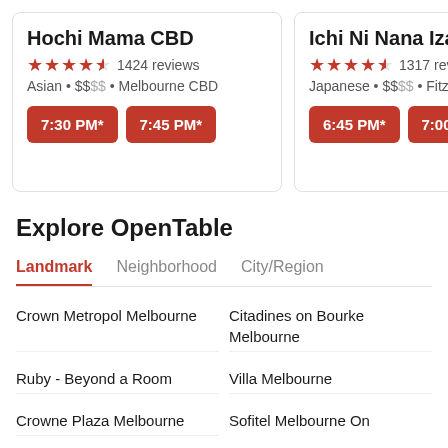Hochi Mama CBD
4.5 stars · 1424 reviews
Asian • $$•• • Melbourne CBD
7:30 PM* | 7:45 PM*
Ichi Ni Nana Izakaya
4.5 stars · 1317 reviews
Japanese • $$•• • Fitzroy
6:45 PM* | 7:00 PM*
Explore OpenTable
Landmark | Neighborhood | City/Region
Crown Metropol Melbourne
Citadines on Bourke Melbourne
Ruby - Beyond a Room
Villa Melbourne
Crowne Plaza Melbourne
Sofitel Melbourne On